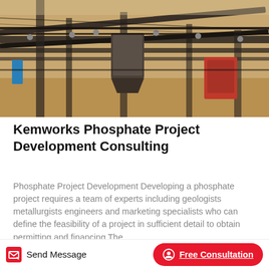[Figure (photo): Industrial/mining construction site photograph showing conveyor belts, metal structures, equipment and machinery at a phosphate processing facility]
Kemworks Phosphate Project Development Consulting
Phosphate Project Development Developing a phosphate project requires a team of experts including geologists metallurgists engineers and marketing specialists who can define the feasibility of a project in sufficient detail to obtain permitting and financing The
[Figure (photo): Outdoor photo showing power lines and heavy machinery/crane against a blue sky at a mining or construction site]
Send Message   Free Consultation